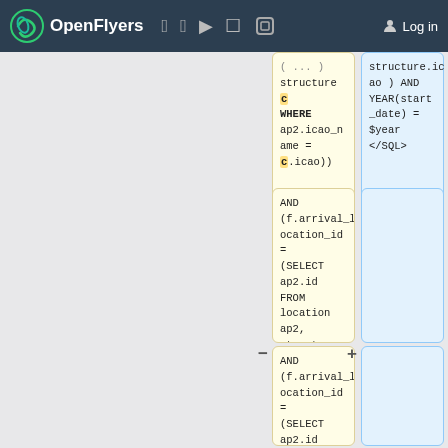OpenFlyers [nav icons] Log in
structure c WHERE ap2.icao_name = c.icao))
structure.icao ) AND YEAR(start_date) = $year </SQL>
AND (f.arrival_location_id = (SELECT ap2.id FROM location ap2, structure c WHERE ap2.icao_name = c.icao))
(empty blue panel)